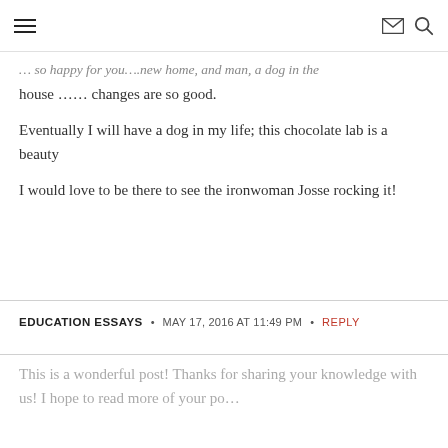≡ [menu icon] [envelope icon] [search icon]
… so happy for you….new home, and man, a dog in the house …… changes are so good.
Eventually I will have a dog in my life; this chocolate lab is a beauty
I would love to be there to see the ironwoman Josse rocking it!
EDUCATION ESSAYS • MAY 17, 2016 AT 11:49 PM • REPLY
This is a wonderful post! Thanks for sharing your knowledge with us! I hope to read more of your po…